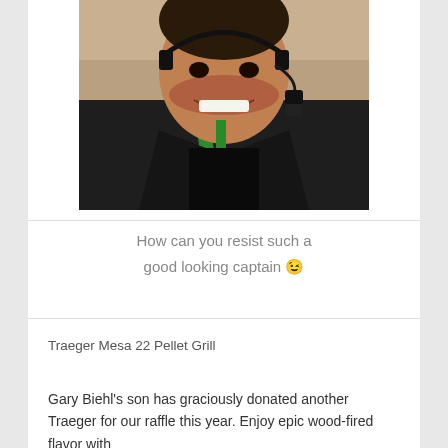[Figure (photo): A smiling man wearing a black leather jacket with a green lanyard and a headset microphone, appearing to be in a cockpit or aircraft setting.]
How can you resist such a good looking captain 😉
Traeger Mesa 22 Pellet Grill
Gary Biehl's son has graciously donated another Traeger for our raffle this year. Enjoy epic wood-fired flavor with